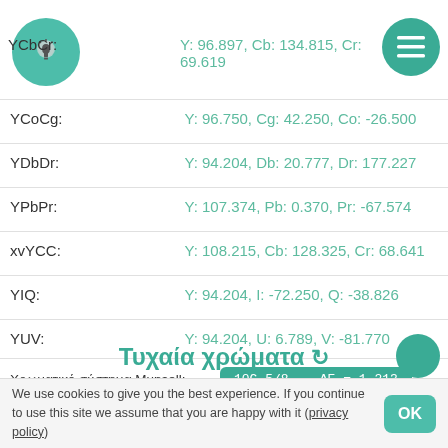[Figure (logo): Teal circular logo with lightbulb icon]
YCbCr:    Y: 96.897, Cb: 134.815, Cr: 69.619
YCoCg:    Y: 96.750, Cg: 42.250, Co: -26.500
YDbDr:    Y: 94.204, Db: 20.777, Dr: 177.227
YPbPr:    Y: 107.374, Pb: 0.370, Pr: -67.574
xvYCC:    Y: 108.215, Cb: 128.325, Cr: 68.641
YIQ:      Y: 94.204, I: -72.250, Q: -38.826
YUV:      Y: 94.204, U: 6.789, V: -81.770
Χρωματικό σύστημα Munsell:   10G 5/8  ΔE = 1.213
Χρώματα εμπορικής επωνυμίας:  Vine  ΔE = 9.065
Τυχαία χρώματα
We use cookies to give you the best experience. If you continue to use this site we assume that you are happy with it (privacy policy)